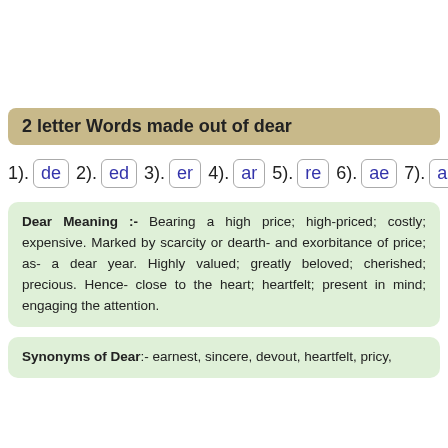2 letter Words made out of dear
1). de  2). ed  3). er  4). ar  5). re  6). ae  7). ad
Dear Meaning :- Bearing a high price; high-priced; costly; expensive. Marked by scarcity or dearth- and exorbitance of price; as- a dear year. Highly valued; greatly beloved; cherished; precious. Hence- close to the heart; heartfelt; present in mind; engaging the attention.
Synonyms of Dear:- earnest, sincere, devout, heartfelt, pricy,